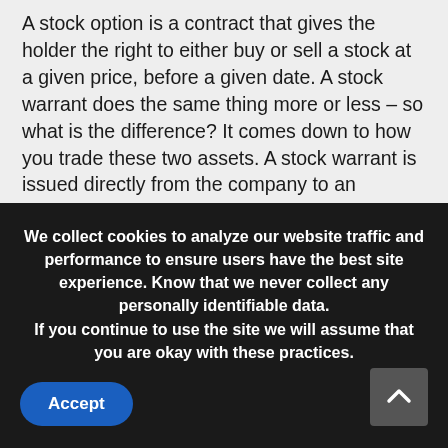A stock option is a contract that gives the holder the right to either buy or sell a stock at a given price, before a given date. A stock warrant does the same thing more or less – so what is the difference? It comes down to how you trade these two assets. A stock warrant is issued directly from the company to an investor, while a stock option contract is traded among independent investors on the stock market.
And as you'll soon discover, each of these presents unique advantages to investors. This can make it tricky to determine which is better for your
We collect cookies to analyze our website traffic and performance to ensure users have the best site experience. Know that we never collect any personally identifiable data.
If you continue to use the site we will assume that you are okay with these practices.